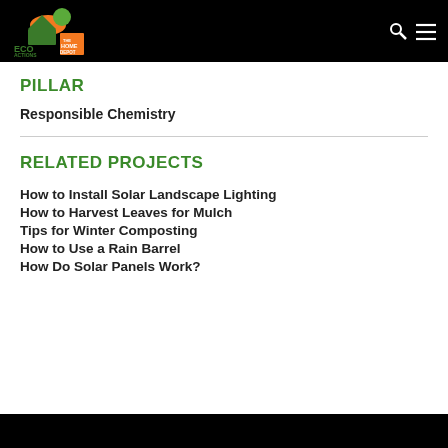ECO ACTIONS | The Home Depot — Navigation bar with logo and menu icons
PILLAR
Responsible Chemistry
RELATED PROJECTS
How to Install Solar Landscape Lighting
How to Harvest Leaves for Mulch
Tips for Winter Composting
How to Use a Rain Barrel
How Do Solar Panels Work?